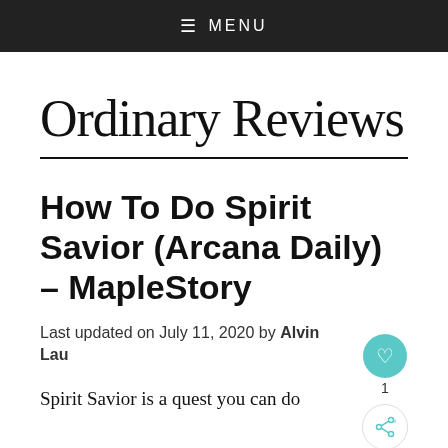≡ MENU
Ordinary Reviews
How To Do Spirit Savior (Arcana Daily) – MapleStory
Last updated on July 11, 2020 by Alvin Lau
Spirit Savior is a quest you can do